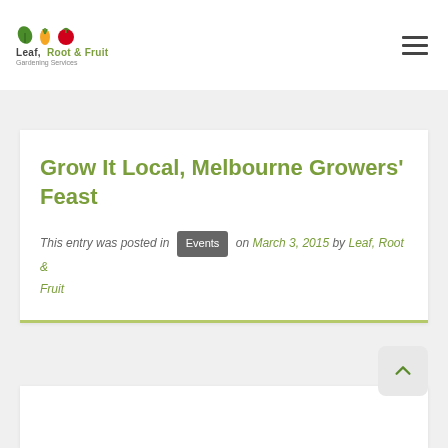Leaf, Root & Fruit — Gardening Services
Grow It Local, Melbourne Growers' Feast
This entry was posted in Events on March 3, 2015 by Leaf, Root & Fruit